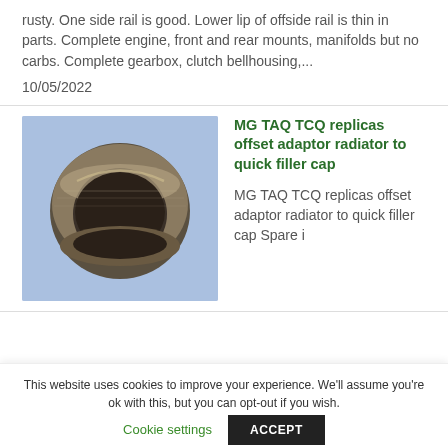rusty. One side rail is good. Lower lip of offside rail is thin in parts. Complete engine, front and rear mounts, manifolds but no carbs. Complete gearbox, clutch bellhousing,...
10/05/2022
[Figure (photo): A metal ring adapter/collar, bronze or steel colored, on a blue background]
MG TAQ TCQ replicas offset adaptor radiator to quick filler cap
MG TAQ TCQ replicas offset adaptor radiator to quick filler cap Spare i
This website uses cookies to improve your experience. We'll assume you're ok with this, but you can opt-out if you wish.
Cookie settings
ACCEPT